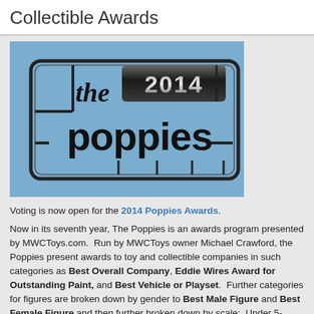Collectible Awards
[Figure (logo): The 2014 Poppies Award logo on a light blue background. Shows a plastic model sprue frame containing the text 'the 2014 poppies' in a stylized font.]
Voting is now open for the 2014 Poppies Awards.
Now in its seventh year, The Poppies is an awards program presented by MWCToys.com. Run by MWCToys owner Michael Crawford, the Poppies present awards to toy and collectible companies in such categories as Best Overall Company, Eddie Wires Award for Outstanding Paint, and Best Vehicle or Playset. Further categories for figures are broken down by gender to Best Male Figure and Best Female Figure and then further broken down by scale: Under 5-inches, 5-inches to 11-inches, 12-inches to 17-